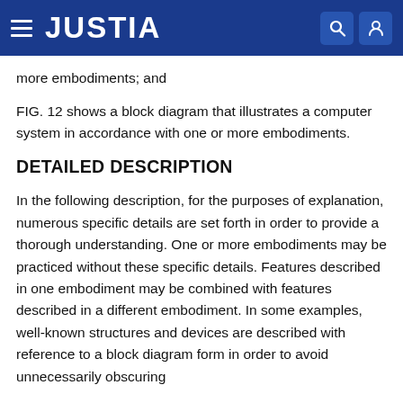JUSTIA
more embodiments; and
FIG. 12 shows a block diagram that illustrates a computer system in accordance with one or more embodiments.
DETAILED DESCRIPTION
In the following description, for the purposes of explanation, numerous specific details are set forth in order to provide a thorough understanding. One or more embodiments may be practiced without these specific details. Features described in one embodiment may be combined with features described in a different embodiment. In some examples, well-known structures and devices are described with reference to a block diagram form in order to avoid unnecessarily obscuring